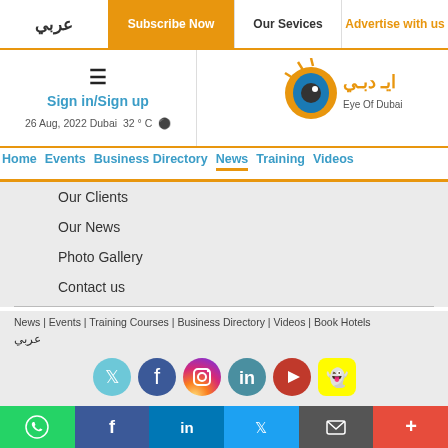عربي | Subscribe Now | Our Services | Advertise with us
[Figure (screenshot): Eye of Dubai website header with hamburger menu, Sign in/Sign up link, date 26 Aug, 2022, Dubai 32°C, and Eye of Dubai logo]
Home | Events | Business Directory | News | Training | Videos
Our Clients
Our News
Photo Gallery
Contact us
News | Events | Training Courses | Business Directory | Videos | Book Hotels
عربي
[Figure (illustration): Social media icons: Twitter, Facebook, Instagram, LinkedIn, YouTube, Snapchat]
Sign up for newsletter
WhatsApp, Facebook, LinkedIn, Twitter, Email, More — bottom action bar